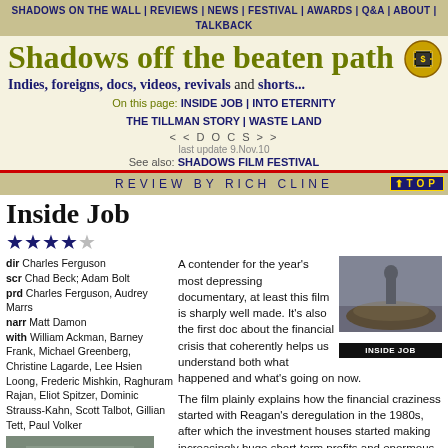SHADOWS ON THE WALL | REVIEWS | NEWS | FESTIVAL | AWARDS | Q&A | ABOUT | TALKBACK
Shadows off the beaten path
Indies, foreigns, docs, videos, revivals and shorts...
On this page: INSIDE JOB | INTO ETERNITY
THE TILLMAN STORY | WASTE LAND
< < D O C S > >
last update 9.Nov.10
See also: SHADOWS FILM FESTIVAL
REVIEW BY RICH CLINE
Inside Job
★★★★☆
dir Charles Ferguson
scr Chad Beck; Adam Bolt
prd Charles Ferguson, Audrey Marrs
narr Matt Damon
with William Ackman, Barney Frank, Michael Greenberg, Christine Lagarde, Lee Hsien Loong, Frederic Mishkin, Raghuram Rajan, Eliot Spitzer, Dominic Strauss-Kahn, Scott Talbot, Gillian Tett, Paul Volker
A contender for the year's most depressing documentary, at least this film is sharply well made. It's also the first doc about the financial crisis that coherently helps us understand both what happened and what's going on now.
[Figure (photo): Movie poster for Inside Job showing a person in silhouette standing on a pile of money/coins]
[Figure (photo): Photo of a man in a suit speaking with hands raised]
release US 1.Oct.10,
UK 18.Feb.11
The film plainly explains how the financial craziness started with Reagan's deregulation in the 1980s, after which the investment houses started making increasingly huge short-term profits and enormous bonuses. Of course, this money had to come from somewhere, and it turns out that the bankers were knowingly stealing it from the people they were selling bad debt to all along. Warnings that a crash was